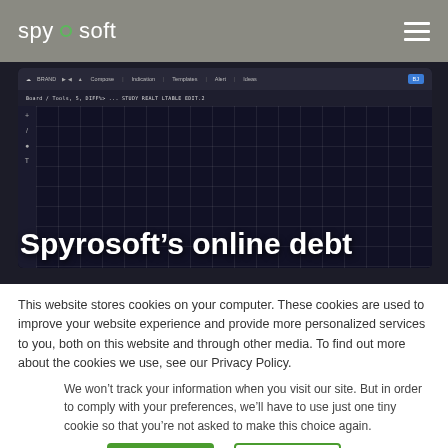spyrosoft
[Figure (screenshot): Hero image showing a dark monitoring/analytics dashboard screen with grid lines and toolbar. Large white text overlay reads: Spyrosoft's online debt]
Spyrosoft’s online debt
This website stores cookies on your computer. These cookies are used to improve your website experience and provide more personalized services to you, both on this website and through other media. To find out more about the cookies we use, see our Privacy Policy.
We won’t track your information when you visit our site. But in order to comply with your preferences, we’ll have to use just one tiny cookie so that you’re not asked to make this choice again.
Accept | Decline